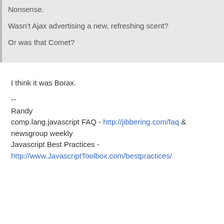Nonsense.
Wasn't Ajax advertising a new, refreshing scent?
Or was that Comet?
I think it was Borax.
--
Randy
comp.lang.javascript FAQ - http://jibbering.com/faq & newsgroup weekly
Javascript Best Practices - http://www.JavascriptToolbox.com/bestpractices/